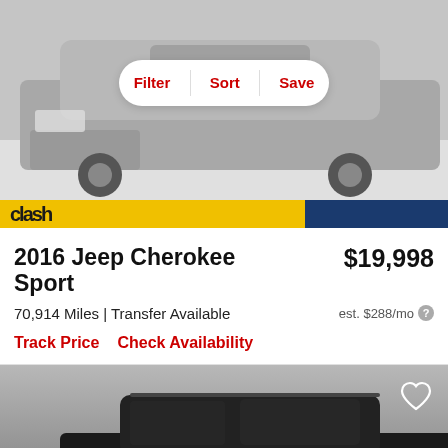[Figure (photo): Silver Jeep Cherokee Sport front view, photographed in a studio with gray background. Filter, Sort, Save button bar overlaid on top.]
[Figure (screenshot): Dealer logo bar with yellow and dark blue background]
2016 Jeep Cherokee Sport
$19,998
70,914 Miles | Transfer Available
est. $288/mo
Track Price   Check Availability
[Figure (photo): Dark/black Jeep Cherokee SUV front three-quarter view, photographed against gray background, with heart/save icon in top right corner.]